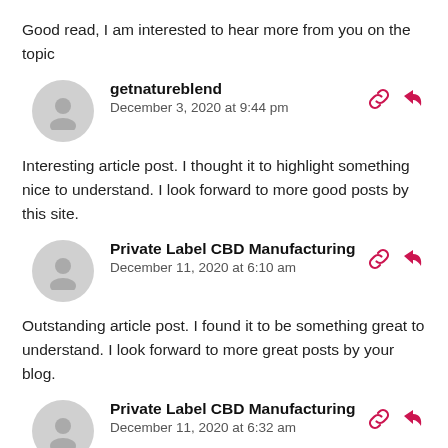Good read, I am interested to hear more from you on the topic
getnatureblend
December 3, 2020 at 9:44 pm
Interesting article post. I thought it to highlight something nice to understand. I look forward to more good posts by this site.
Private Label CBD Manufacturing
December 11, 2020 at 6:10 am
Outstanding article post. I found it to be something great to understand. I look forward to more great posts by your blog.
Private Label CBD Manufacturing
December 11, 2020 at 6:32 am